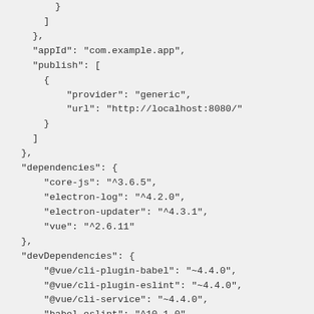}
      ]
    },
    "appId": "com.example.app",
    "publish": [
      {
          "provider": "generic",
          "url": "http://localhost:8080/"
      }
    ]
  },
  "dependencies": {
      "core-js": "^3.6.5",
      "electron-log": "^4.2.0",
      "electron-updater": "^4.3.1",
      "vue": "^2.6.11"
  },
  "devDependencies": {
      "@vue/cli-plugin-babel": "~4.4.0",
      "@vue/cli-plugin-eslint": "~4.4.0",
      "@vue/cli-service": "~4.4.0",
      "babel-eslint": "^10.1.0",
      "electron": "^5.0.0",
      "eslint": "^6.7.2",
      "eslint-plugin-vue": "^6.2.2",
      "vue-cli-plugin-electron-builder": "~1.4.6",